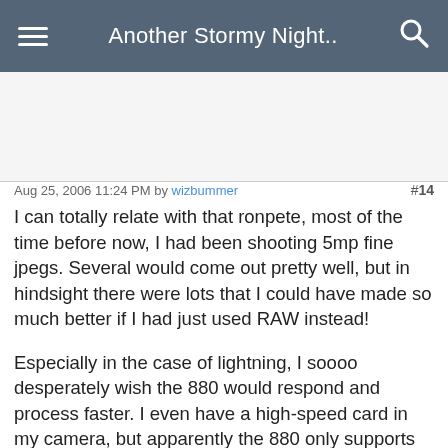Another Stormy Night..
Aug 25, 2006 11:24 PM by wizbummer  #14
I can totally relate with that ronpete, most of the time before now, I had been shooting 5mp fine jpegs. Several would come out pretty well, but in hindsight there were lots that I could have made so much better if I had just used RAW instead!

Especially in the case of lightning, I soooo desperately wish the 880 would respond and process faster. I even have a high-speed card in my camera, but apparently the 880 only supports SD 1.01 (the slower, 12.5mbps max) instead of SD 1.1 which supports 20mbs. The buffer also isn't very large. At best it would be the full 32mb internal memory, which in terms of a few oversized RAW files that's less than 8 pictures.